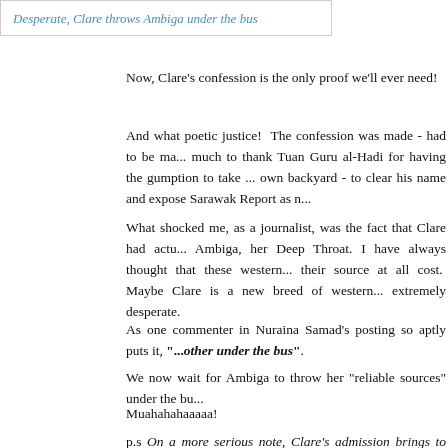[Figure (other): Hyperlink box with italic blue text: 'Desperate, Clare throws Ambiga under the bus']
Now, Clare's confession is the only proof we'll ever need!
And what poetic justice!  The confession was made - had to be ma... much to thank Tuan Guru al-Hadi for having the gumption to take ... own backyard - to clear his name and expose Sarawak Report as n...
What shocked me, as a journalist, was the fact that Clare had actu... Ambiga, her Deep Throat. I have always thought that these western... their source at all cost.  Maybe Clare is a new breed of western... extremely desperate.
As one commenter in Nuraina Samad's posting so aptly puts it, "... other under the bus".
We now wait for Ambiga to throw her "reliable sources" under the bu...
Muahahahaaaaa!
p.s On a more serious note, Clare's admission brings to mind th... lodged by our Attorney-General against blogger RPK for his pos... Like Clare, RPK is also based in the UK but the two are NOT...